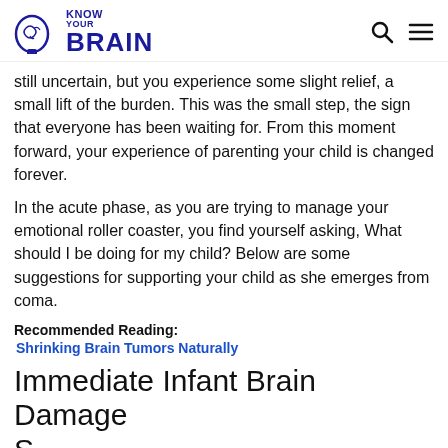Know Your Brain
still uncertain, but you experience some slight relief, a small lift of the burden. This was the small step, the sign that everyone has been waiting for. From this moment forward, your experience of parenting your child is changed forever.
In the acute phase, as you are trying to manage your emotional roller coaster, you find yourself asking, What should I be doing for my child? Below are some suggestions for supporting your child as she emerges from coma.
Recommended Reading:
Shrinking Brain Tumors Naturally
Immediate Infant Brain Damage Support